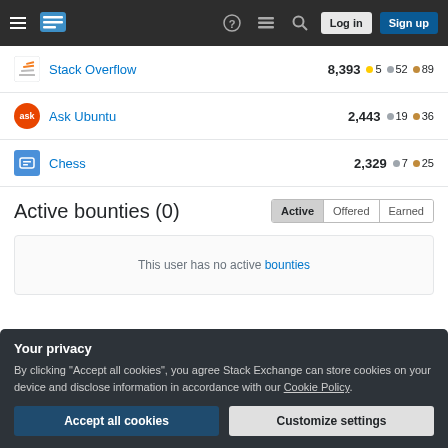Stack Exchange navigation bar with Log in and Sign up buttons
Stack Overflow 8,393 • 5 gold • 52 silver • 89 bronze
Ask Ubuntu 2,443 • 19 silver • 36 bronze
Chess 2,329 • 7 silver • 25 bronze
Active bounties (0)
This user has no active bounties
Your privacy
By clicking "Accept all cookies", you agree Stack Exchange can store cookies on your device and disclose information in accordance with our Cookie Policy.
Accept all cookies | Customize settings